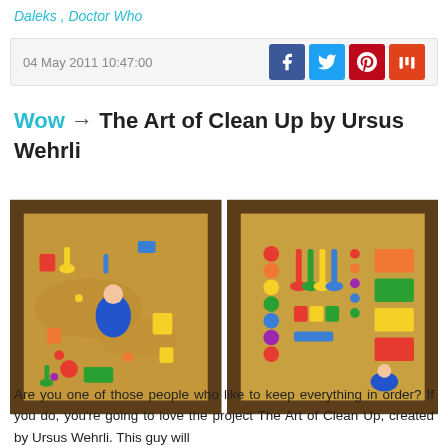Daleks , Doctor Who
04 May 2011 10:47:00
Wow → The Art of Clean Up by Ursus Wehrli
[Figure (photo): Two side-by-side photos of a sandbox with colorful toys: left photo shows toys scattered randomly in sand, right photo shows the same toys neatly organized and sorted by type and color on clean sand.]
Are you one of those people who like to keep everything in order? If you do, you're going to love the project The Art of Clean Up, created by Ursus Wehrli. This guy will